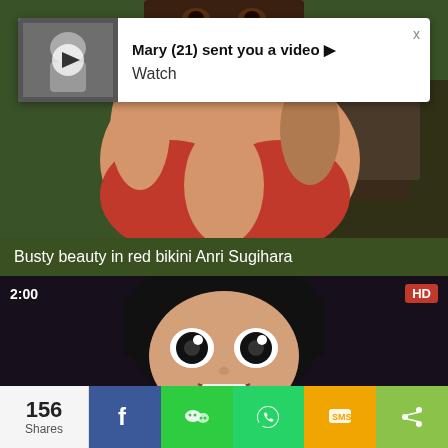[Figure (screenshot): 3D rendered female figure in red bikini top, background with outdoor furniture]
Mary (21) sent you a video ► Watch
Busty beauty in red bikini Anri Sugihara
[Figure (screenshot): 3D animated female character with black hair, 2:00 duration label and HD badge]
156 Shares